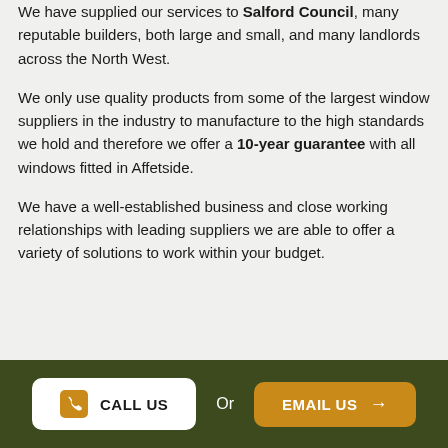We have supplied our services to Salford Council, many reputable builders, both large and small, and many landlords across the North West.
We only use quality products from some of the largest window suppliers in the industry to manufacture to the high standards we hold and therefore we offer a 10-year guarantee with all windows fitted in Affetside.
We have a well-established business and close working relationships with leading suppliers we are able to offer a variety of solutions to work within your budget.
CALL US  Or  EMAIL US →